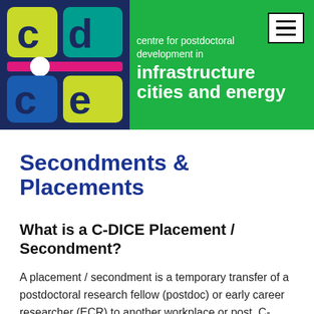[Figure (logo): C-DICE logo with colourful letters on dark background and green banner header reading 'centre for postdoctoral development in infrastructure cities and energy']
Secondments & Placements
What is a C-DICE Placement / Secondment?
A placement / secondment is a temporary transfer of a postdoctoral research fellow (postdoc) or early career researcher (ECR) to another workplace or post. C-DICE